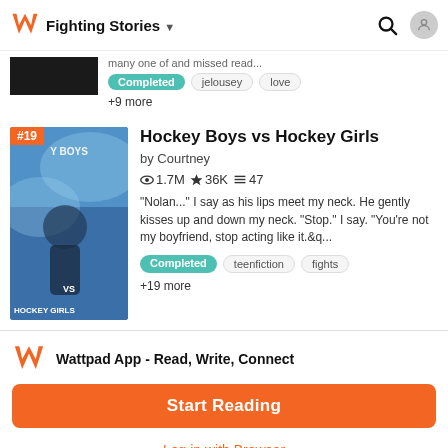Fighting Stories
many one of and missed read...
Completed  jelousey  love  +9 more
Hockey Boys vs Hockey Girls
by Courtney
1.7M ★36K ≡47
"Nolan..." I say as his lips meet my neck. He gently kisses up and down my neck. "Stop." I say. "You're not my boyfriend, stop acting like it.&q...
Completed  teenfiction  fights  +19 more
Wattpad App - Read, Write, Connect
Start Reading
Log in with Browser